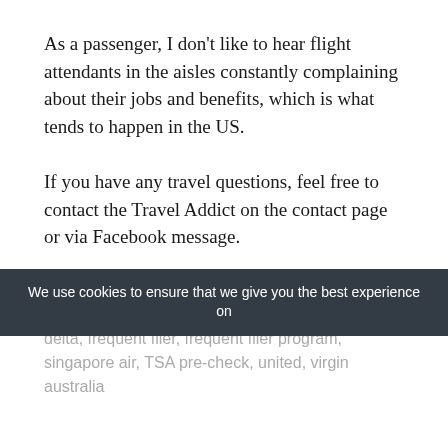As a passenger, I don't like to hear flight attendants in the aisles constantly complaining about their jobs and benefits, which is what tends to happen in the US.
If you have any travel questions, feel free to contact the Travel Addict on the contact page or via Facebook message.
In this article: airport, airports, cathay pacific, delta, frequent flier, frequent flier program, singapore air, TSA pre-check, united, virgin australia
We use cookies to ensure that we give you the best experience on